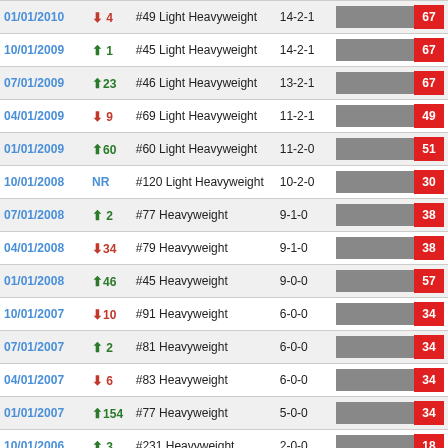| Date | Change | Rank/Division | Record | Rating |
| --- | --- | --- | --- | --- |
| 01/01/2010 | ▼ 4 | #49 Light Heavyweight | 14-2-1 | 67 |
| 10/01/2009 | ▲ 1 | #45 Light Heavyweight | 14-2-1 | 67 |
| 07/01/2009 | ▲ 23 | #46 Light Heavyweight | 13-2-1 | 67 |
| 04/01/2009 | ▼ 9 | #69 Light Heavyweight | 11-2-1 | 49 |
| 01/01/2009 | ▲ 60 | #60 Light Heavyweight | 11-2-0 | 51 |
| 10/01/2008 | NR | #120 Light Heavyweight | 10-2-0 | 30 |
| 07/01/2008 | ▲ 2 | #77 Heavyweight | 9-1-0 | 38 |
| 04/01/2008 | ▼ 34 | #79 Heavyweight | 9-1-0 | 38 |
| 01/01/2008 | ▲ 46 | #45 Heavyweight | 9-0-0 | 57 |
| 10/01/2007 | ▼ 10 | #91 Heavyweight | 6-0-0 | 34 |
| 07/01/2007 | ▲ 2 | #81 Heavyweight | 6-0-0 | 34 |
| 04/01/2007 | ▼ 6 | #83 Heavyweight | 6-0-0 | 34 |
| 01/01/2007 | ▲ 154 | #77 Heavyweight | 5-0-0 | 34 |
| 10/01/2006 | ▲ 3 | #231 Heavyweight | 2-0-0 | 18 |